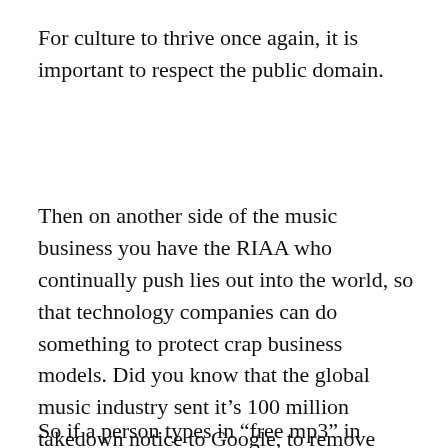For culture to thrive once again, it is important to respect the public domain.
Then on another side of the music business you have the RIAA who continually push lies out into the world, so that technology companies can do something to protect crap business models. Did you know that the global music industry sent it’s 100 million takedown notice to Google, to remove search links to certain sites. It looks like the RIAA doesn’t get it.
So if a person types in “free mp3” in